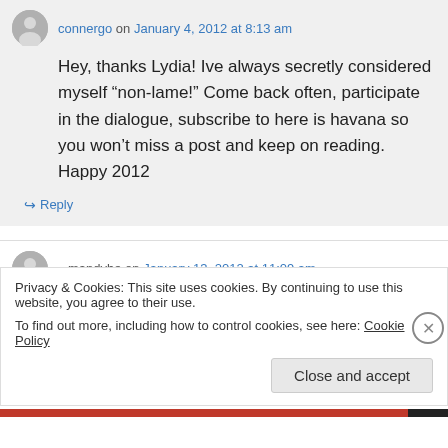connergo on January 4, 2012 at 8:13 am
Hey, thanks Lydia! Ive always secretly considered myself “non-lame!” Come back often, participate in the dialogue, subscribe to here is havana so you won’t miss a post and keep on reading. Happy 2012
↵ Reply
mandybe on January 13, 2012 at 11:09 am
Privacy & Cookies: This site uses cookies. By continuing to use this website, you agree to their use.
To find out more, including how to control cookies, see here: Cookie Policy
Close and accept